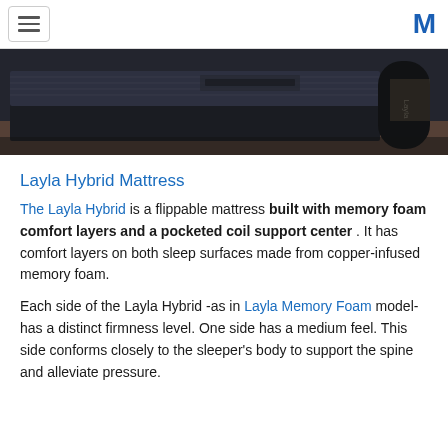≡  M
[Figure (photo): Photo of a Layla Hybrid mattress on a bed frame in a room setting, with a black cylindrical product canister branded 'Layla' visible on the right side.]
Layla Hybrid Mattress
The Layla Hybrid is a flippable mattress built with memory foam comfort layers and a pocketed coil support center . It has comfort layers on both sleep surfaces made from copper-infused memory foam.
Each side of the Layla Hybrid -as in Layla Memory Foam model- has a distinct firmness level. One side has a medium feel. This side conforms closely to the sleeper's body to support the spine and alleviate pressure.